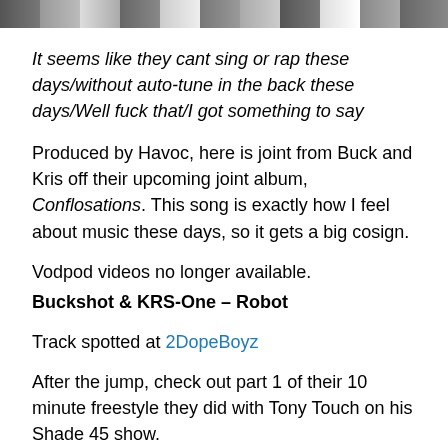[Figure (photo): Partial image strip at top of page showing people, cropped]
It seems like they cant sing or rap these days/without auto-tune in the back these days/Well fuck that/I got something to say
Produced by Havoc, here is joint from Buck and Kris off their upcoming joint album, Conflosations. This song is exactly how I feel about music these days, so it gets a big cosign.
Vodpod videos no longer available.
Buckshot & KRS-One – Robot
Track spotted at 2DopeBoyz
After the jump, check out part 1 of their 10 minute freestyle they did with Tony Touch on his Shade 45 show.